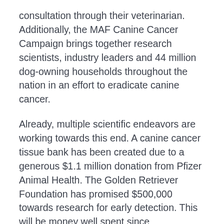consultation through their veterinarian. Additionally, the MAF Canine Cancer Campaign brings together research scientists, industry leaders and 44 million dog-owning households throughout the nation in an effort to eradicate canine cancer.
Already, multiple scientific endeavors are working towards this end. A canine cancer tissue bank has been created due to a generous $1.1 million donation from Pfizer Animal Health. The Golden Retriever Foundation has promised $500,000 towards research for early detection. This will be money well spent since approximately 60% of Golden Retrievers die from cancer. Fleishner happily reports Katy is doing well with her lymphoma treatments, and her sweet, good-natured personality has returned.
Beyond helping our dogs with new innovative therapies, the Canine C [Accessibility View] benefits